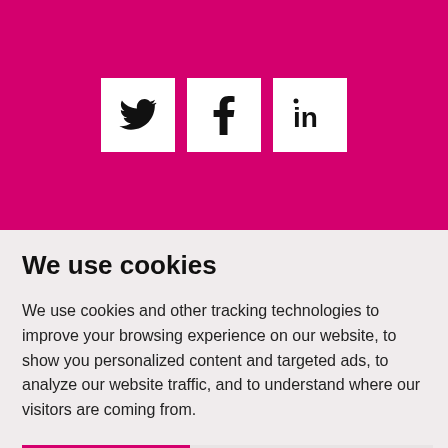[Figure (illustration): Magenta/pink banner header with three social media icons: Twitter bird icon, Facebook 'f' icon, and LinkedIn 'in' icon, each on a white square background.]
We use cookies
We use cookies and other tracking technologies to improve your browsing experience on our website, to show you personalized content and targeted ads, to analyze our website traffic, and to understand where our visitors are coming from.
I agree | Reject | Change my preferences